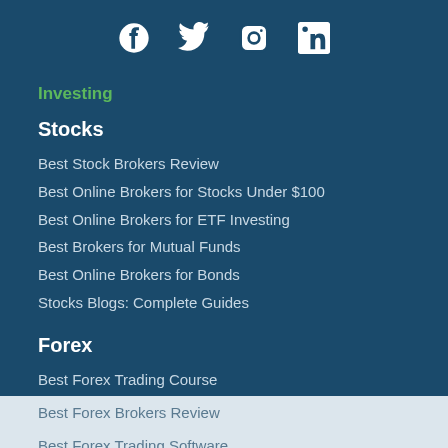[Figure (logo): Social media icons row: Facebook, Twitter, Instagram, LinkedIn]
Investing
Stocks
Best Stock Brokers Review
Best Online Brokers for Stocks Under $100
Best Online Brokers for ETF Investing
Best Brokers for Mutual Funds
Best Online Brokers for Bonds
Stocks Blogs: Complete Guides
Forex
Best Forex Trading Course
Best Forex Brokers Review
Best Forex Trading Software